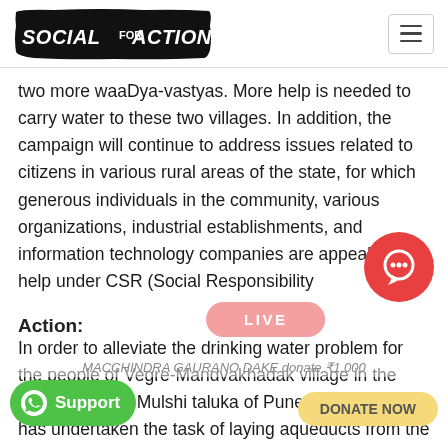SOCIAL FOR ACTION
two more waaDya-vastyas. More help is needed to carry water to these two villages. In addition, the campaign will continue to address issues related to citizens in various rural areas of the state, for which generous individuals in the community, various organizations, industrial establishments, and information technology companies are appealing to help under CSR (Social Responsibility
Action:
In order to alleviate the drinking water problem for the people of Vegre-Mandvakhadak village in the remote area of Mulshi taluka of Pune district, 'Sakal' has undertaken the task of laying aqueducts from the water tank on the hill to the village through